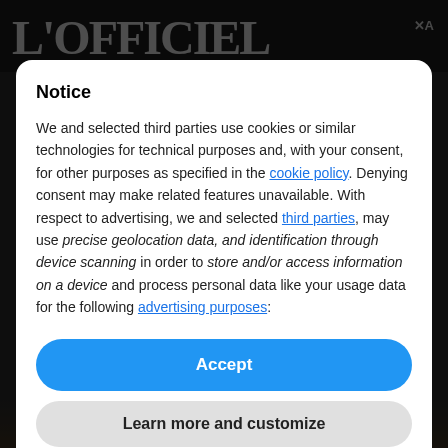L'OFFICIEL
Pretty Little Liars: Original Pretty Little Liars
...something happening today, L'OFFICIEL takes a look back at the laziest moments... Oh, Are you ReAdy?
07.28.2022 by Alyssa Grabinski
Notice
We and selected third parties use cookies or similar technologies for technical purposes and, with your consent, for other purposes as specified in the cookie policy. Denying consent may make related features unavailable. With respect to advertising, we and selected third parties, may use precise geolocation data, and identification through device scanning in order to store and/or access information on a device and process personal data like your usage data for the following advertising purposes:
Accept
Learn more and customize